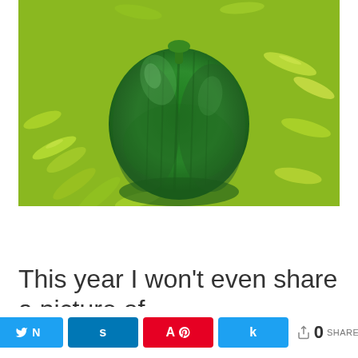[Figure (photo): Close-up photo of green bell peppers and small green chili peppers piled together, with a large round dark green bell pepper in the center]
This year I won't even share a picture of
N Tweet | s Share | A Pin | k Share | < 0 SHARES